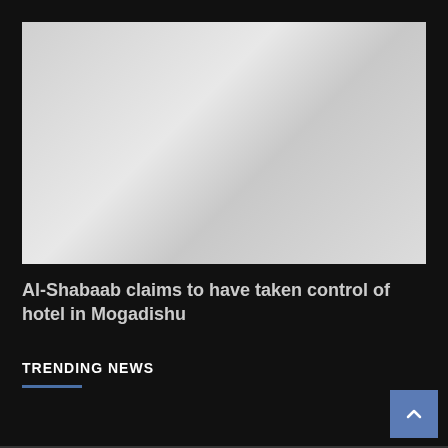[Figure (photo): Light gray image placeholder, appears to be a news article header image area with gradient gray background]
Al-Shabaab claims to have taken control of hotel in Mogadishu
TRENDING NEWS